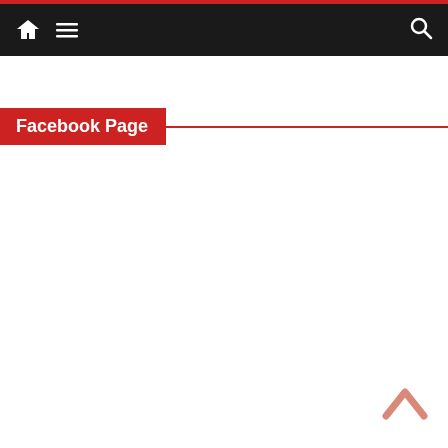Navigation bar with home, menu, and search icons
Facebook Page